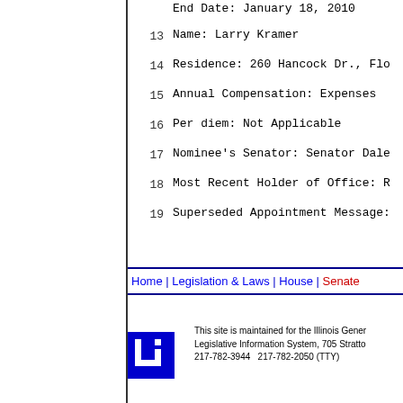End Date: January 18, 2010
13   Name: Larry Kramer
14   Residence: 260 Hancock Dr., Flo...
15   Annual Compensation: Expenses
16   Per diem: Not Applicable
17   Nominee's Senator: Senator Dale...
18   Most Recent Holder of Office: R...
19   Superseded Appointment Message:
Home | Legislation & Laws | House | Senate...
This site is maintained for the Illinois Gener... Legislative Information System, 705 Stratto... 217-782-3944   217-782-2050 (TTY)